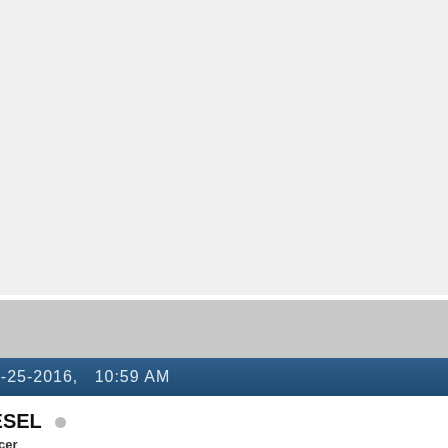[Figure (photo): Partial photo of a dark blue BMW car front-end (grille, bumper, license plate) with trees and guardrail in background. Text 'Performan...' partially visible at top.]
02-25-2016,   10:59 AM
D1ESEL
Enforcer
Originally Posted by BMWCurves
Which was yours?